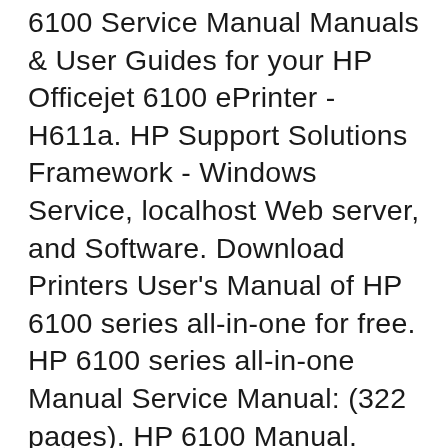6100 Service Manual Manuals & User Guides for your HP Officejet 6100 ePrinter - H611a. HP Support Solutions Framework - Windows Service, localhost Web server, and Software. Download Printers User's Manual of HP 6100 series all-in-one for free. HP 6100 series all-in-one Manual Service Manual: (322 pages). HP 6100 Manual. Download HP OMNIBOOK 6000 6100 service manual & repair info for electronics experts. Service manuals, schematics, eproms for electrical technicians. This site helps you to save the Earth from electronic waste! HP OMNIBOOK 6000 6100. Type: (PDF) Size 2.7 MB. Page 114. Category NOTEBOOK-PC SERVICE MANUAL. If you get stuck in repairing a defective appliance, do not hesitate to Ty...